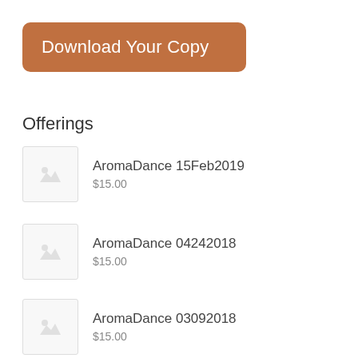[Figure (other): Orange/brown rounded rectangle button with text 'Download Your Copy']
Offerings
AromaDance 15Feb2019 — $15.00
AromaDance 04242018 — $15.00
AromaDance 03092018 — $15.00
AromaDance 03302018 — $15.00